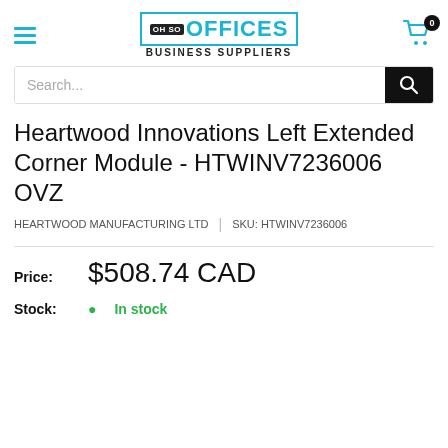OH SO OFFICES BUSINESS SUPPLIERS
Heartwood Innovations Left Extended Corner Module - HTWINV7236006 OVZ
HEARTWOOD MANUFACTURING LTD | SKU: HTWINV7236006
Price: $508.74 CAD
Stock: In stock